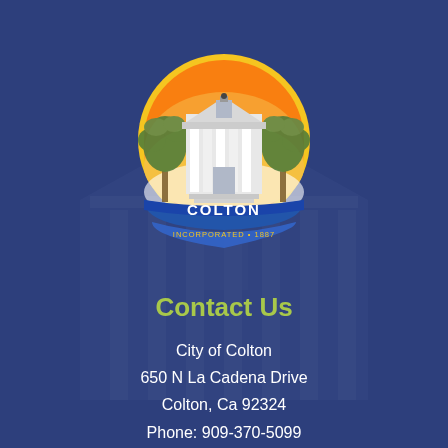[Figure (logo): City of Colton circular seal/logo featuring a white columned building (city hall), palm trees on either side, an orange and yellow sunrise background, a blue ribbon banner at the bottom reading 'COLTON' and 'INCORPORATED • 1887']
Contact Us
City of Colton
650 N La Cadena Drive
Colton, Ca 92324
Phone: 909-370-5099